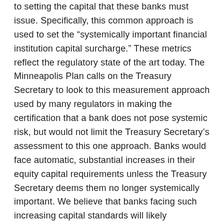to setting the capital that these banks must issue. Specifically, this common approach is used to set the “systemically important financial institution capital surcharge.” These metrics reflect the regulatory state of the art today. The Minneapolis Plan calls on the Treasury Secretary to look to this measurement approach used by many regulators in making the certification that a bank does not pose systemic risk, but would not limit the Treasury Secretary’s assessment to this one approach. Banks would face automatic, substantial increases in their equity capital requirements unless the Treasury Secretary deems them no longer systemically important. We believe that banks facing such increasing capital standards will likely restructure their operations such that they no longer are systemically important and thus do not have a material chance of needing a bailout.